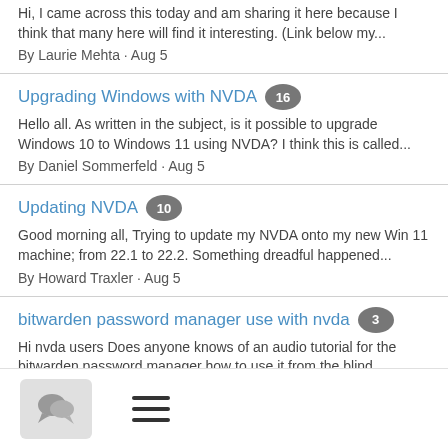Hi, I came across this today and am sharing it here because I think that many here will find it interesting. (Link below my...
By Laurie Mehta · Aug 5
Upgrading Windows with NVDA [16 replies]
Hello all. As written in the subject, is it possible to upgrade Windows 10 to Windows 11 using NVDA? I think this is called...
By Daniel Sommerfeld · Aug 5
Updating NVDA [10 replies]
Good morning all, Trying to update my NVDA onto my new Win 11 machine; from 22.1 to 22.2. Something dreadful happened...
By Howard Traxler · Aug 5
bitwarden password manager use with nvda [3 replies]
Hi nvda users Does anyone knows of an audio tutorial for the bitwarden password manager how to use it from the blind...
By Michael Micallef at FITA · Aug 5
activating the Sally Ivoina voice from harpo